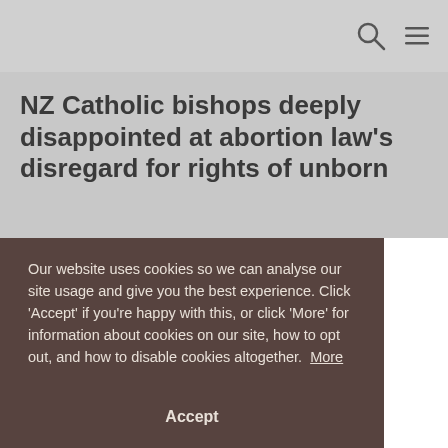NZ Catholic bishops deeply disappointed at abortion law's disregard for rights of unborn
Our website uses cookies so we can analyse our site usage and give you the best experience. Click 'Accept' if you're happy with this, or click 'More' for information about cookies on our site, how to opt out, and how to disable cookies altogether. More
Accept